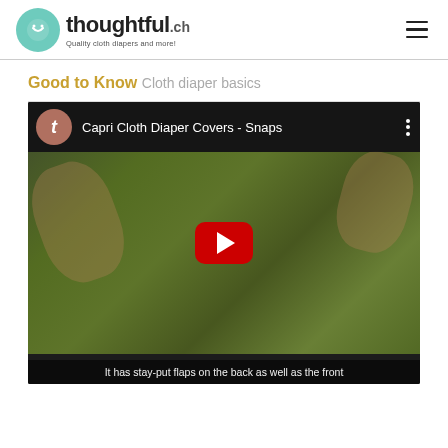thoughtful.ch — Quality cloth diapers and more!
Good to Know
Cloth diaper basics
[Figure (screenshot): YouTube video thumbnail showing 'Capri Cloth Diaper Covers - Snaps' with hands holding a green cloth diaper cover, a red YouTube play button in the center, and a caption 'It has stay-put flaps on the back as well as the front']